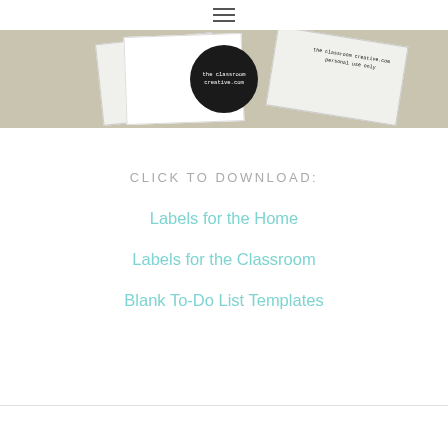≡ (hamburger menu icon)
[Figure (photo): Photo of black circular label reading 'the classroom creative.com' placed on white paper cards, with a stamped watermark text 'the classroom creative.com personal use only' visible on card at right, on a light tan/beige background.]
CLICK TO DOWNLOAD:
Labels for the Home
Labels for the Classroom
Blank To-Do List Templates